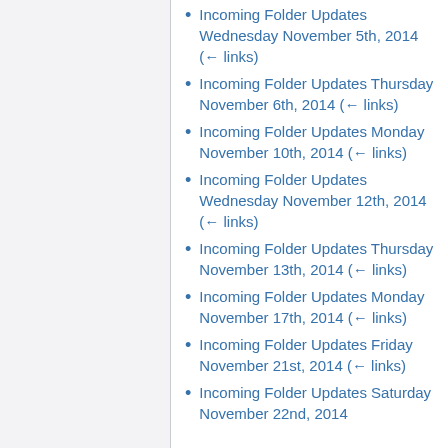Incoming Folder Updates Wednesday November 5th, 2014 (← links)
Incoming Folder Updates Thursday November 6th, 2014 (← links)
Incoming Folder Updates Monday November 10th, 2014  (← links)
Incoming Folder Updates Wednesday November 12th, 2014  (← links)
Incoming Folder Updates Thursday November 13th, 2014 (← links)
Incoming Folder Updates Monday November 17th, 2014  (← links)
Incoming Folder Updates Friday November 21st, 2014  (← links)
Incoming Folder Updates Saturday November 22nd, 2014